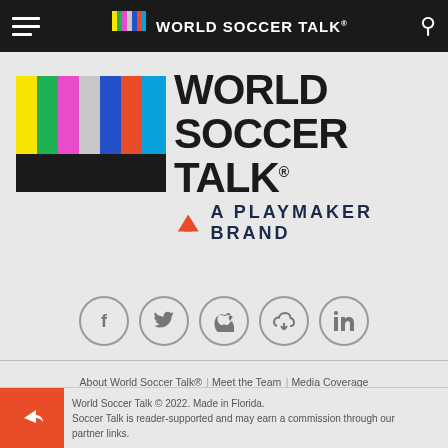World Soccer Talk — navigation bar with hamburger menu, logo, and search icon
[Figure (logo): World Soccer Talk logo with color bars and wordmark, A Playmaker Brand tagline]
[Figure (infographic): Social media icons row: Facebook, Twitter, Apple, Google, LinkedIn — circular outlined buttons]
About World Soccer Talk® | Meet the Team | Media Coverage | Apply As A Journalist | Privacy | Terms & Conditions | Ad Choices | Contact Us
World Soccer Talk © 2022. Made in Florida. World Soccer Talk is reader-supported and may earn a commission through our partner links.